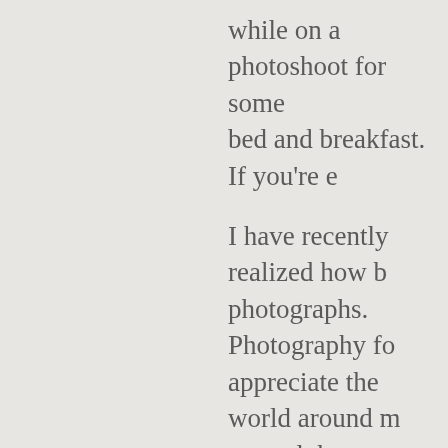while on a photoshoot for some bed and breakfast. If you're e
I have recently realized how b photographs. Photography fo appreciate the world around m around the next bend in the r understand because the amo great for any one person to e life's greatest opportunities a advantage of that as often as
I crave making photographs b in an unknown place or situat taken because of an innate f